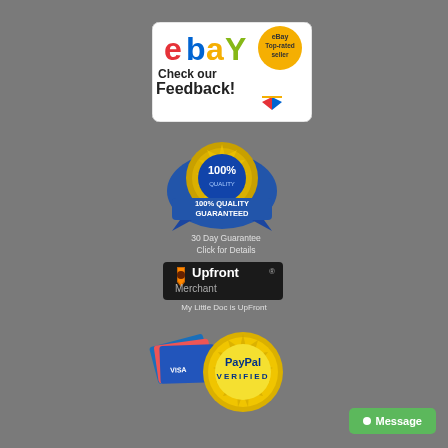[Figure (logo): eBay Top-rated seller badge with 'Check our Feedback!' text]
[Figure (logo): 100% Quality Guaranteed gold and blue badge/seal]
30 Day Guarantee
Click for Details
[Figure (logo): Upfront Merchant badge with shield icon]
My Little Doc is UpFront
[Figure (logo): PayPal Verified badge with credit cards]
[Figure (other): Green Message button in bottom right corner]